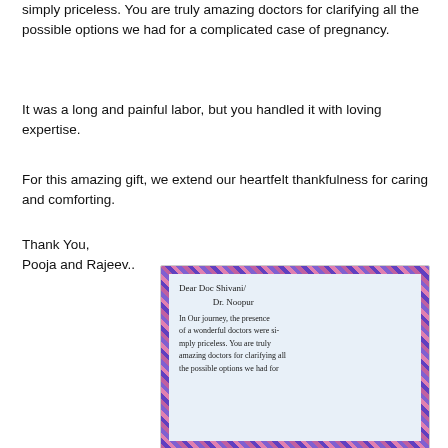simply priceless. You are truly amazing doctors for clarifying all the possible options we had for a complicated case of pregnancy.
It was a long and painful labor, but you handled it with loving expertise.
For this amazing gift, we extend our heartfelt thankfulness for caring and comforting.
Thank You,
Pooja and Rajeev..
[Figure (photo): A handwritten thank-you card on light blue paper with a decorative plaid/checkered border in purple, pink, and blue. The card reads: 'Dear Doc Shivani / Dr. Noopur, In our journey, the presence of a wonderful doctors were simply priceless. You are truly amazing doctors for clarifying all the possible options we had for']